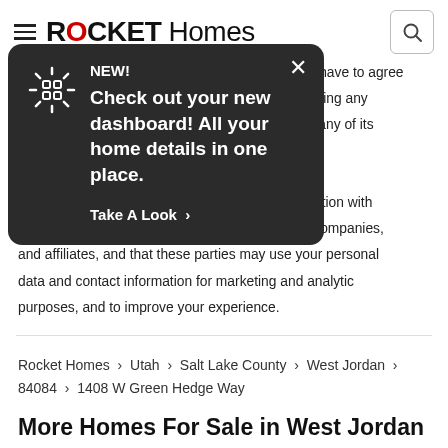ROCKET Homes
state, or national Do Not Call registry. You do not have to agree to receive calls or messages as a condition of getting any services. The Rocket Homes Real Estate LLC or any of its affiliates, by providing your phone, you consent to calls being recorded. You also agree that we can share your personal data and contact information with third parties such as mortgage partners, partner companies, and affiliates, and that these parties may use your personal data and contact information for marketing and analytic purposes, and to improve your experience.
[Figure (screenshot): Dark popup modal with NEW! label and spinning icon. Text reads: Check out your new dashboard! All your home details in one place. Take A Look > with a close X button.]
Rocket Homes › Utah › Salt Lake County › West Jordan › 84084 › 1408 W Green Hedge Way
More Homes For Sale in West Jordan